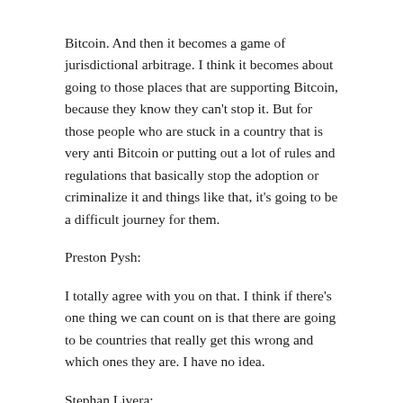Bitcoin. And then it becomes a game of jurisdictional arbitrage. I think it becomes about going to those places that are supporting Bitcoin, because they know they can't stop it. But for those people who are stuck in a country that is very anti Bitcoin or putting out a lot of rules and regulations that basically stop the adoption or criminalize it and things like that, it's going to be a difficult journey for them.
Preston Pysh:
I totally agree with you on that. I think if there's one thing we can count on is that there are going to be countries that really get this wrong and which ones they are. I have no idea.
Stephan Livera:
That's a tough one to think about. But potentially those small or medium countries might have more of an incentive to, because they're the ones kind of punching up, right? They're the ones who have more of an incentive to try to support this thing and to try and ride the wave. So maybe they'll be the ones to try and have tax incentives or some other kinds of citizen